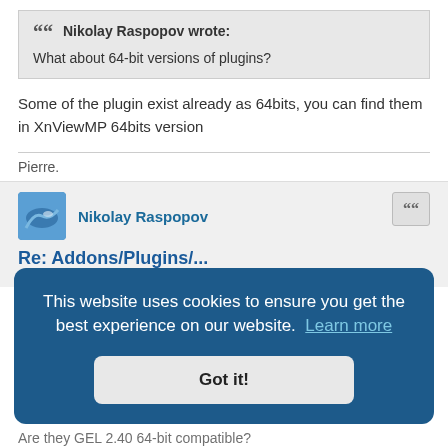Nikolay Raspopov wrote: What about 64-bit versions of plugins?
Some of the plugin exist already as 64bits, you can find them in XnViewMP 64bits version
Pierre.
Nikolay Raspopov
Re: Addons/Plugins/...
Thu Aug 18, 2011 4:29 pm
This website uses cookies to ensure you get the best experience on our website. Learn more
Got it!
Are they GEL 2.40 64-bit compatible?